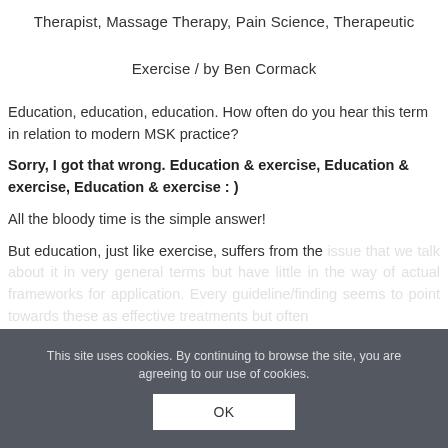Therapist, Massage Therapy, Pain Science, Therapeutic Exercise / by Ben Cormack
Education, education, education. How often do you hear this term in relation to modern MSK practice?
Sorry, I got that wrong. Education & exercise, Education & exercise, Education & exercise : )
All the bloody time is the simple answer!
But education, just like exercise, suffers from the issue that we talk about it in very general terms but have little in the way of actual frameworks for application. Every guideline/finding seems to point towards these as effective treatments but often
This site uses cookies. By continuing to browse the site, you are agreeing to our use of cookies.